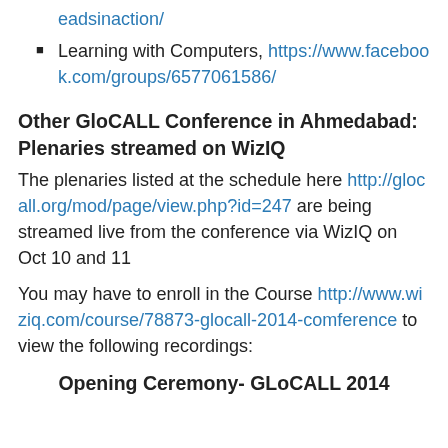eadsinaction/
Learning with Computers, https://www.facebook.com/groups/6577061586/
Other GloCALL Conference in Ahmedabad: Plenaries streamed on WizIQ
The plenaries listed at the schedule here http://glocall.org/mod/page/view.php?id=247 are being streamed live from the conference via WizIQ on Oct 10 and 11
You may have to enroll in the Course http://www.wiziq.com/course/78873-glocall-2014-comference to view the following recordings:
Opening Ceremony- GLoCALL 2014